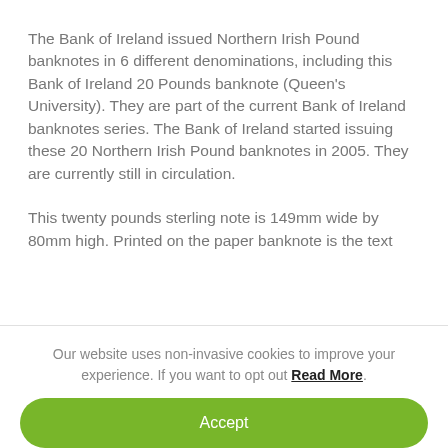The Bank of Ireland issued Northern Irish Pound banknotes in 6 different denominations, including this Bank of Ireland 20 Pounds banknote (Queen's University). They are part of the current Bank of Ireland banknotes series. The Bank of Ireland started issuing these 20 Northern Irish Pound banknotes in 2005. They are currently still in circulation.
This twenty pounds sterling note is 149mm wide by 80mm high. Printed on the paper banknote is the text
Our website uses non-invasive cookies to improve your experience. If you want to opt out Read More.
Accept